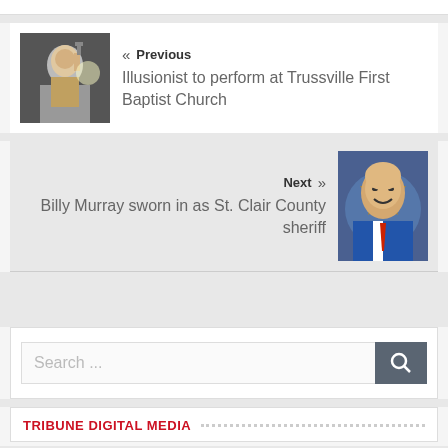« Previous
Illusionist to perform at Trussville First Baptist Church
Next »
Billy Murray sworn in as St. Clair County sheriff
Search ...
TRIBUNE DIGITAL MEDIA